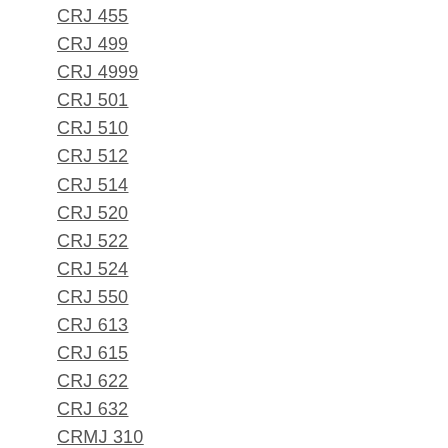CRJ 455
CRJ 499
CRJ 4999
CRJ 501
CRJ 510
CRJ 512
CRJ 514
CRJ 520
CRJ 522
CRJ 524
CRJ 550
CRJ 613
CRJ 615
CRJ 622
CRJ 632
CRMJ 310
CRMJ 315
CRMJ 320
CRMJ 400